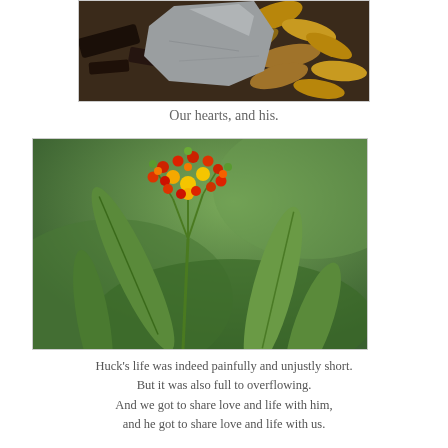[Figure (photo): Close-up photo of a rock/stone partially visible among dark mulch and dry brown leaves]
Our hearts, and his.
[Figure (photo): Photo of a flowering plant with red and yellow blooms surrounded by large green leaves against a soft green background]
Huck's life was indeed painfully and unjustly short. But it was also full to overflowing. And we got to share love and life with him, and he got to share love and life with us.

That is a wonderful thing.